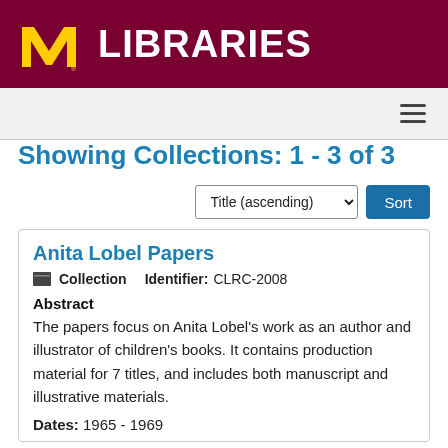University of Minnesota Libraries
Showing Collections: 1 - 3 of 3
Title (ascending) Sort
Anita Lobel Papers
Collection   Identifier: CLRC-2008
Abstract
The papers focus on Anita Lobel's work as an author and illustrator of children's books. It contains production material for 7 titles, and includes both manuscript and illustrative materials.
Dates: 1965 - 1969